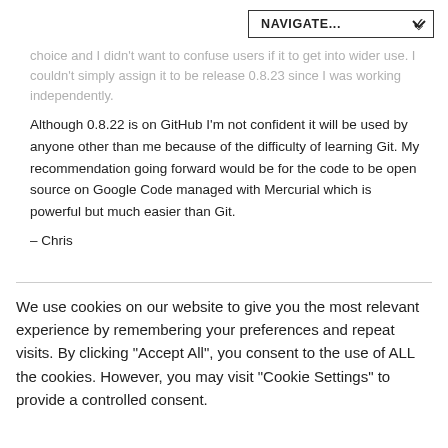NAVIGATE...
choice and I didn't want to confuse users if it to get into wider use. I couldn't simply assign it to be release 0.8.23 since I was working independently.
Although 0.8.22 is on GitHub I'm not confident it will be used by anyone other than me because of the difficulty of learning Git. My recommendation going forward would be for the code to be open source on Google Code managed with Mercurial which is powerful but much easier than Git.
– Chris
We use cookies on our website to give you the most relevant experience by remembering your preferences and repeat visits. By clicking "Accept All", you consent to the use of ALL the cookies. However, you may visit "Cookie Settings" to provide a controlled consent.